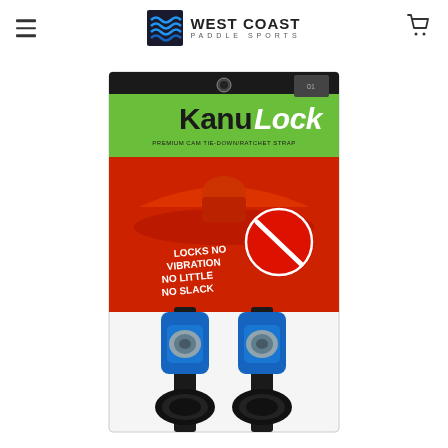West Coast Paddle Sports
[Figure (photo): Product photo of KanuLock paddling tie-down straps with blue cam buckles, displayed in retail packaging with green and black header showing the KanuLock brand name. The package shows two black straps coiled at the bottom with blue cam-lock buckles and a red circular no-slip badge.]